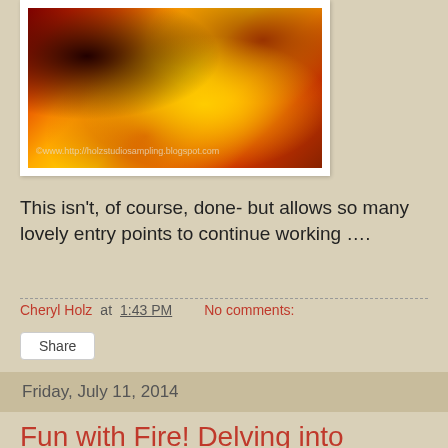[Figure (photo): Close-up photograph of a sunflower with yellow petals and dark red/maroon center, warm tones. Watermark text: ©www.http://holzstudiosampling.blogspot.com]
This isn't, of course, done- but allows so many lovely entry points to continue working ….
Cheryl Holz at 1:43 PM   No comments:
Share
Friday, July 11, 2014
Fun with Fire! Delving into Encaustics...